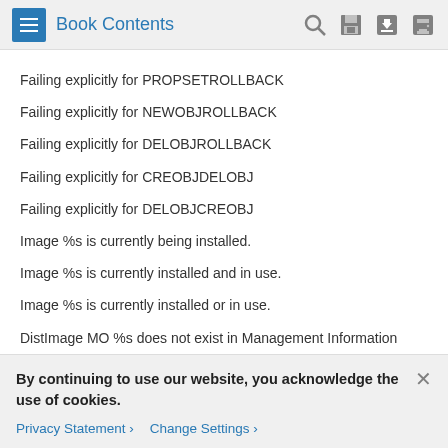Book Contents
Failing explicitly for PROPSETROLLBACK
Failing explicitly for NEWOBJROLLBACK
Failing explicitly for DELOBJROLLBACK
Failing explicitly for CREOBJDELOBJ
Failing explicitly for DELOBJCREOBJ
Image %s is currently being installed.
Image %s is currently installed and in use.
Image %s is currently installed or in use.
DistImage MO %s does not exist in Management Information
By continuing to use our website, you acknowledge the use of cookies.
Privacy Statement > Change Settings >